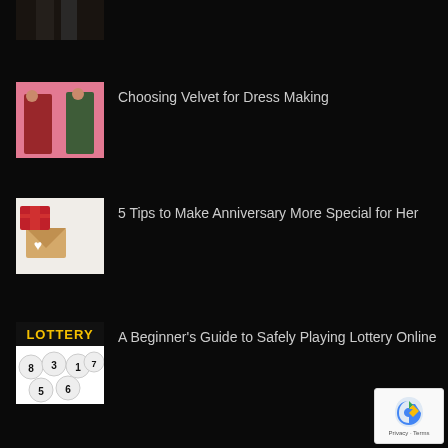[Figure (photo): Partial view of a couple (legs only visible) standing outdoors on a street, dark coats]
Choosing Velvet for Dress Making
[Figure (photo): Two women wearing velvet dresses (one red, one green) posing against a pink background]
5 Tips to Make Anniversary More Special for Her
[Figure (photo): Hands holding a gift envelope with red gift boxes and rose petals on a white surface]
A Beginner's Guide to Safely Playing Lottery Online
[Figure (photo): Lottery balls with numbers and the word LOTTERY in yellow text on black background]
[Figure (logo): reCAPTCHA badge with Privacy and Terms text]